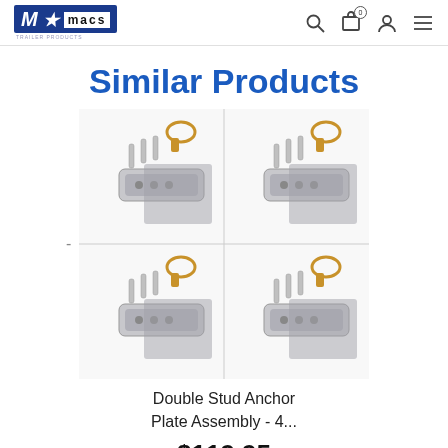macs [logo with navigation icons: search, cart (0), account, menu]
Similar Products
[Figure (photo): Four identical Double Stud Anchor Plate Assembly kits arranged in a 2x2 grid, each showing a metal anchor plate, screws, and a brass hook component]
Double Stud Anchor Plate Assembly - 4...
$119.95